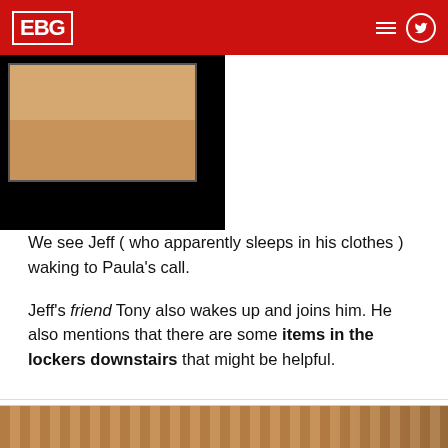EBG
[Figure (screenshot): Game screenshot showing a top-down RPG room interior with wooden floor and walls, against a black border/background]
We see Jeff ( who apparently sleeps in his clothes ) waking to Paula's call.
Jeff's friend Tony also wakes up and joins him. He also mentions that there are some items in the lockers downstairs that might be helpful.